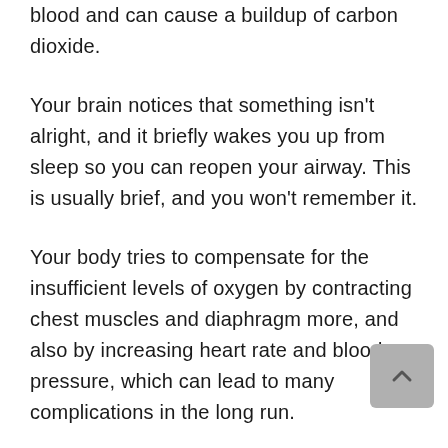blood and can cause a buildup of carbon dioxide.
Your brain notices that something isn't alright, and it briefly wakes you up from sleep so you can reopen your airway. This is usually brief, and you won't remember it.
Your body tries to compensate for the insufficient levels of oxygen by contracting chest muscles and diaphragm more, and also by increasing heart rate and blood pressure, which can lead to many complications in the long run.